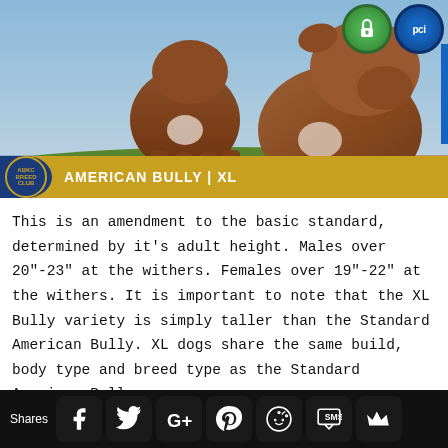[Figure (photo): Two American Bully XL dogs photographed outdoors on grass with blue sky background. Left dog is standing facing forward, right dog is larger in foreground. Gold banner at bottom reads AMERICAN BULLY | XL with ABKC logo. Security badges (padlock and PCI) visible top right.]
This is an amendment to the basic standard, determined by it's adult height. Males over 20"-23" at the withers. Females over 19"-22" at the withers. It is important to note that the XL Bully variety is simply taller than the Standard American Bully. XL dogs share the same build, body type and breed type as the Standard American Bully.
XXL BULLY